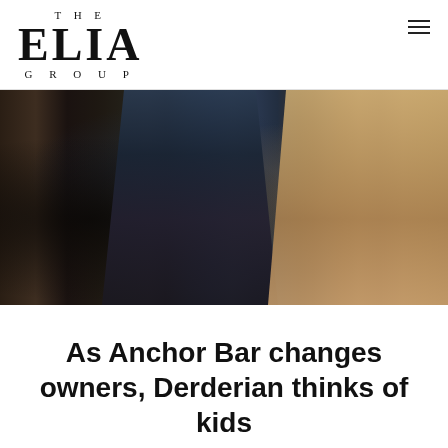THE ELIA GROUP
[Figure (photo): Dark interior photo showing two people in winter coats — a dark navy puffer jacket on the left and a tan/beige coat on the right — standing or seated at what appears to be a bar or restaurant interior with dark wood paneling.]
As Anchor Bar changes owners, Derderian thinks of kids